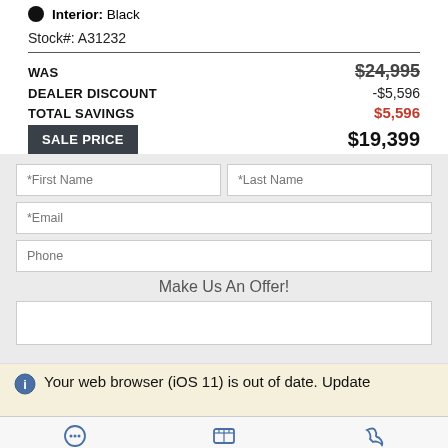Interior: Black
Stock#: A31232
| WAS | $24,995 |
| DEALER DISCOUNT | -$5,596 |
| TOTAL SAVINGS | $5,596 |
| SALE PRICE | $19,399 |
[Figure (screenshot): Contact form with fields: First Name, Last Name, Email, Phone, and a Make Us An Offer textarea]
Your web browser (iOS 11) is out of date. Update
Messages  Location  Contact Us